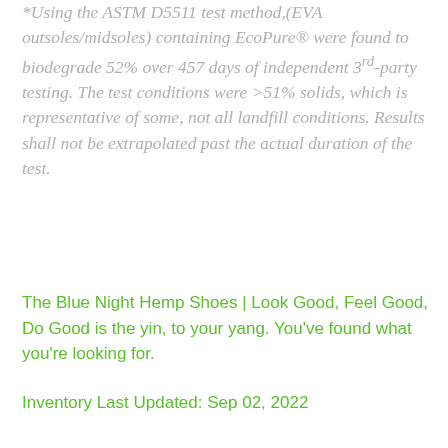*Using the ASTM D5511 test method,(EVA outsoles/midsoles) containing EcoPure® were found to biodegrade 52% over 457 days of independent 3rd-party testing. The test conditions were >51% solids, which is representative of some, not all landfill conditions. Results shall not be extrapolated past the actual duration of the test.
The Blue Night Hemp Shoes | Look Good, Feel Good, Do Good is the yin, to your yang. You've found what you're looking for.
Inventory Last Updated: Sep 02, 2022